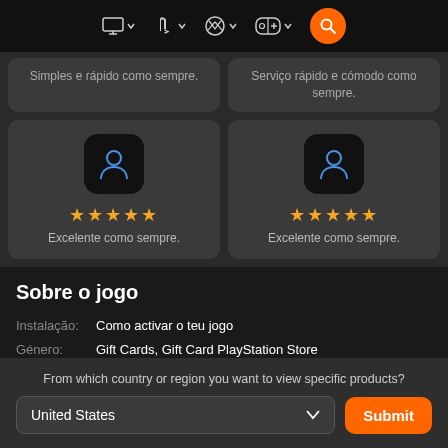Navigation bar with platform icons: monitor, PlayStation, Xbox, Nintendo Switch, and search button
Simples e rápido como sempre.
Serviço rápido e cómodo como sempre.
★★★★★ Excelente como sempre.
★★★★★ Excelente como sempre.
Sobre o jogo
Instalação: Como activar o teu jogo
Género: Gift Cards, Gift Card PlayStation Store
From which country or region you want to view specific products?
United States
Submit